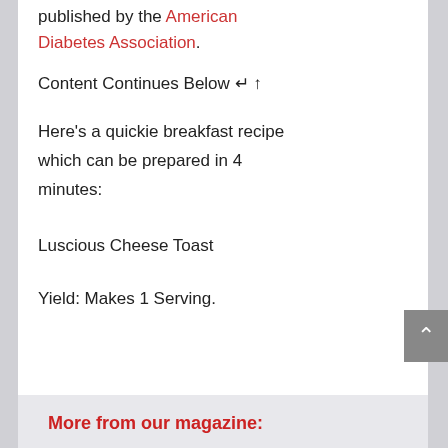published by the American Diabetes Association.
Content Continues Below ↵ ↑
Here's a quickie breakfast recipe which can be prepared in 4 minutes:
Luscious Cheese Toast
Yield: Makes 1 Serving.
More from our magazine: